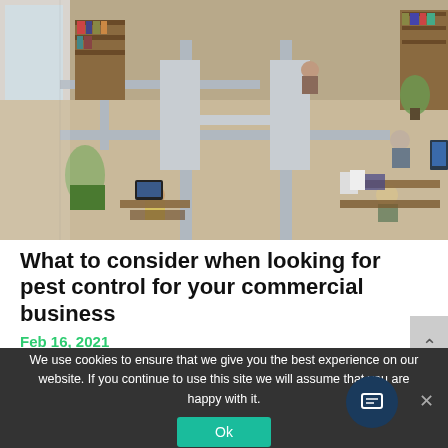[Figure (photo): Aerial view of an open-plan office with cubicle dividers, workers at desks, bookshelves, computers, and plants. Brown wooden furniture and grey divider panels.]
What to consider when looking for pest control for your commercial business
Feb 16, 2021
We use cookies to ensure that we give you the best experience on our website. If you continue to use this site we will assume that you are happy with it.